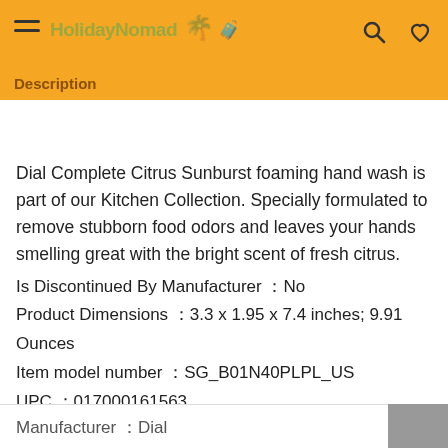HolidayNomad — Description
Dial Complete Citrus Sunburst foaming hand wash is part of our Kitchen Collection. Specially formulated to remove stubborn food odors and leaves your hands smelling great with the bright scent of fresh citrus.
Is Discontinued By Manufacturer : No
Product Dimensions : 3.3 x 1.95 x 7.4 inches; 9.91 Ounces
Item model number : SG_B01N40PLPL_US
UPC : 017000161563
Manufacturer : Dial